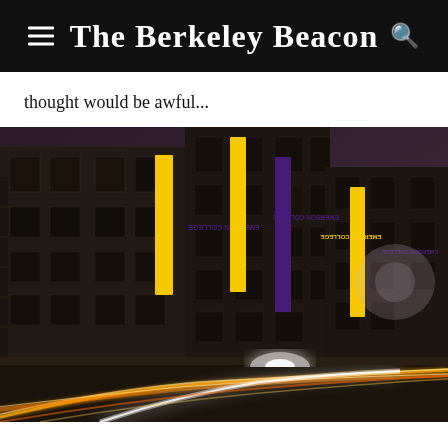The Berkeley Beacon
thought would be awful...
[Figure (photo): Night photograph of Emerson College building exterior with yellow/purple vertical banners reading 'Emerson College', light trails from traffic in the foreground, foggy sky in background]